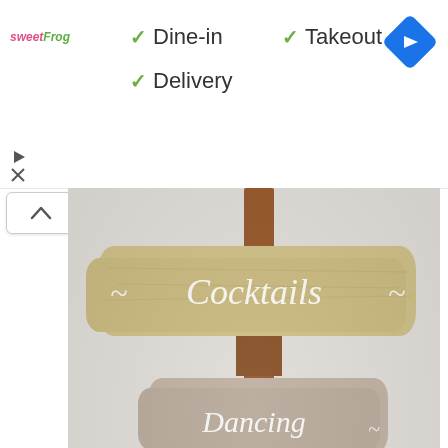[Figure (logo): sweetFrog logo in pink and green italic text]
✓ Dine-in
✓ Takeout
✓ Delivery
[Figure (other): Blue diamond navigation/directions icon in top right]
[Figure (photo): Driftwood wedding signage on a post with calligraphy signs reading Cocktails and Dancing]
wedding signage made of driftwood is a cool idea for a coastal wedding, it's a very eco-friendly idea
[Figure (photo): Second photo partially visible at bottom showing an interior space with hanging lights]